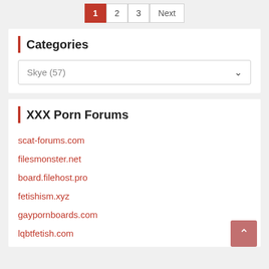1 2 3 Next (pagination)
Categories
Skye (57)
XXX Porn Forums
scat-forums.com
filesmonster.net
board.filehost.pro
fetishism.xyz
gaypornboards.com
lqbtfetish.com